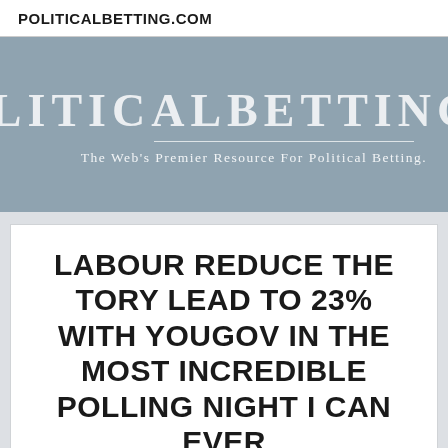POLITICALBETTING.COM
[Figure (screenshot): PoliticalBetting.com website banner with light blue-grey background showing the site name 'POLITICALBETTING.CO' (cropped) in large bold white uppercase letters, with a horizontal rule underneath and the tagline 'The Web's Premier Resource For Political Betting.' in smaller white text]
LABOUR REDUCE THE TORY LEAD TO 23% WITH YOUGOV IN THE MOST INCREDIBLE POLLING NIGHT I CAN EVER